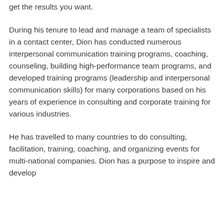get the results you want.
During his tenure to lead and manage a team of specialists in a contact center, Dion has conducted numerous interpersonal communication training programs, coaching, counseling, building high-performance team programs, and developed training programs (leadership and interpersonal communication skills) for many corporations based on his years of experience in consulting and corporate training for various industries.
He has travelled to many countries to do consulting, facilitation, training, coaching, and organizing events for multi-national companies. Dion has a purpose to inspire and develop